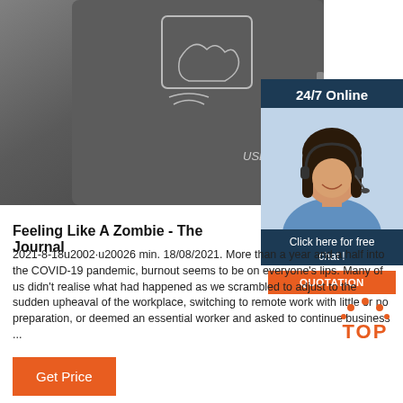[Figure (photo): USB NFC card reader device, dark grey, with contactless card icon on top surface and 'USB Reader' label]
[Figure (photo): Customer service widget with '24/7 Online' banner, photo of smiling woman with headset, 'Click here for free chat!' text, and orange QUOTATION button]
Feeling Like A Zombie - The Journal
2021-8-18u2002·u20026 min. 18/08/2021. More than a year and a half into the COVID-19 pandemic, burnout seems to be on everyone's lips. Many of us didn't realise what had happened as we scrambled to adjust to the sudden upheaval of the workplace, switching to remote work with little or no preparation, or deemed an essential worker and asked to continue business ...
[Figure (other): Orange TOP arrow/arrow-up icon with dots above the word TOP]
Get Price